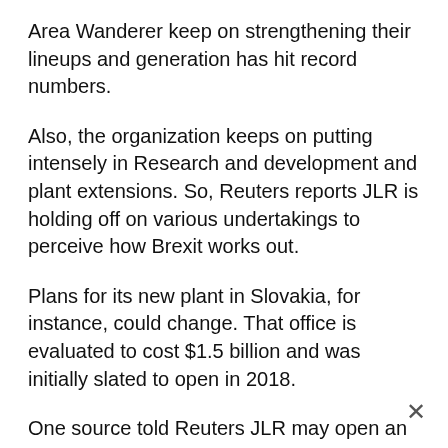Area Wanderer keep on strengthening their lineups and generation has hit record numbers.
Also, the organization keeps on putting intensely in Research and development and plant extensions. So, Reuters reports JLR is holding off on various undertakings to perceive how Brexit works out.
Plans for its new plant in Slovakia, for instance, could change. That office is evaluated to cost $1.5 billion and was initially slated to open in 2018.
One source told Reuters JLR may open an office in Belgium to counterbalance costs, yet would hold its primary home office in the U.K.